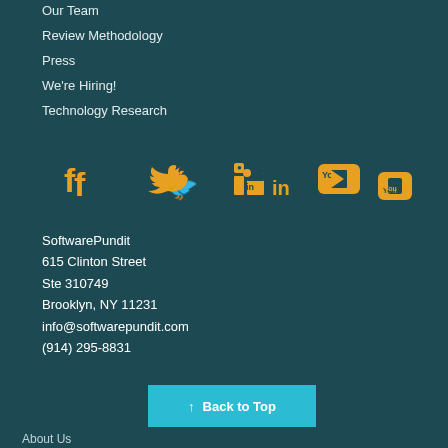Our Team
Review Methodology
Press
We're Hiring!
Technology Research
[Figure (infographic): Social media icons row: Facebook, Twitter, LinkedIn, YouTube — all in gold/amber color on dark teal background]
SoftwarePundit
615 Clinton Street
Ste 310749
Brooklyn, NY 11231
info@softwarepundit.com
(914) 295-8831
Back to Top
About Us